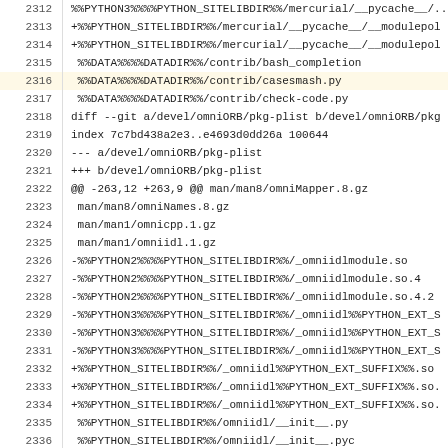| Line | Content |
| --- | --- |
| 2312 | %%PYTHON3%%%%PYTHON_SITELIBDIR%%/mercurial/__pycache__/... |
| 2313 | +%%PYTHON_SITELIBDIR%%/mercurial/__pycache__/__modulepol |
| 2314 | +%%PYTHON_SITELIBDIR%%/mercurial/__pycache__/__modulepol |
| 2315 |  %%DATA%%%%DATADIR%%/contrib/bash_completion |
| 2316 |  %%DATA%%%%DATADIR%%/contrib/casesmash.py |
| 2317 |  %%DATA%%%%DATADIR%%/contrib/check-code.py |
| 2318 | diff --git a/devel/omniORB/pkg-plist b/devel/omniORB/pkg |
| 2319 | index 7c7bd438a2e3..e4693d0dd26a 100644 |
| 2320 | --- a/devel/omniORB/pkg-plist |
| 2321 | +++ b/devel/omniORB/pkg-plist |
| 2322 | @@ -263,12 +263,9 @@ man/man8/omniMapper.8.gz |
| 2323 |  man/man8/omniNames.8.gz |
| 2324 |  man/man1/omnicpp.1.gz |
| 2325 |  man/man1/omniidl.1.gz |
| 2326 | -%%PYTHON2%%%%PYTHON_SITELIBDIR%%/_omniidlmodule.so |
| 2327 | -%%PYTHON2%%%%PYTHON_SITELIBDIR%%/_omniidlmodule.so.4 |
| 2328 | -%%PYTHON2%%%%PYTHON_SITELIBDIR%%/_omniidlmodule.so.4.2 |
| 2329 | -%%PYTHON3%%%%PYTHON_SITELIBDIR%%/_omniidl%%PYTHON_EXT_S |
| 2330 | -%%PYTHON3%%%%PYTHON_SITELIBDIR%%/_omniidl%%PYTHON_EXT_S |
| 2331 | -%%PYTHON3%%%%PYTHON_SITELIBDIR%%/_omniidl%%PYTHON_EXT_S |
| 2332 | +%%PYTHON_SITELIBDIR%%/_omniidl%%PYTHON_EXT_SUFFIX%%.so |
| 2333 | +%%PYTHON_SITELIBDIR%%/_omniidl%%PYTHON_EXT_SUFFIX%%.so. |
| 2334 | +%%PYTHON_SITELIBDIR%%/_omniidl%%PYTHON_EXT_SUFFIX%%.so. |
| 2335 |  %%PYTHON_SITELIBDIR%%/omniidl/__init__.py |
| 2336 |  %%PYTHON_SITELIBDIR%%/omniidl/__init__.pyc |
| 2337 |  %%PYTHON_SITELIBDIR%%/omniidl/idlast.py |